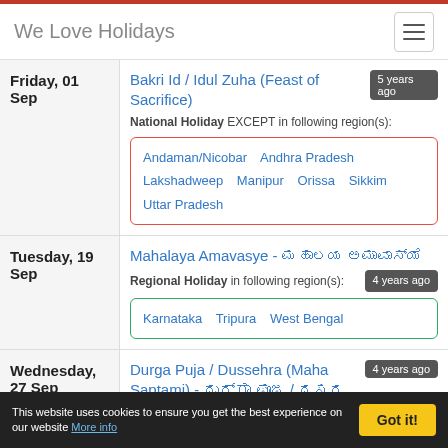We Love Holidays
| Date | Holiday |
| --- | --- |
| Friday, 01 Sep | Bakri Id / Idul Zuha (Feast of Sacrifice) — National Holiday EXCEPT in following region(s): Andaman/Nicobar, Andhra Pradesh, Lakshadweep, Manipur, Orissa, Sikkim, Uttar Pradesh — 5 years ago |
| Tuesday, 19 Sep | Mahalaya Amavasye - ಮಹಾಲಯ ಅಮಾವಾಸ್ಯೆ — Regional Holiday in following region(s): Karnataka, Tripura, West Bengal — 4 years ago |
| Wednesday, 27 Sep | Durga Puja / Dussehra (Maha Saptami) - ದುರ್ಗಾ ಪೂಜ / ದಸರ (ಮಹಾ ಸಪ್ತಮಿ) — 4 years ago |
This website uses cookies to ensure you get the best experience on our website More info  Got it!